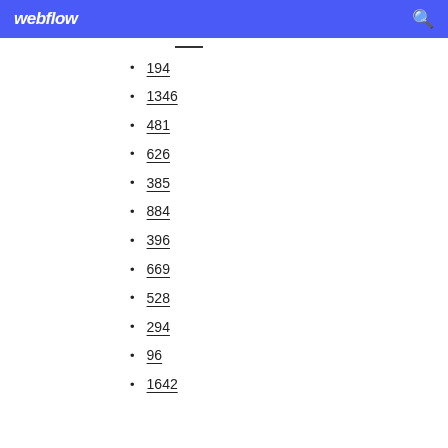webflow
194
1346
481
626
385
884
396
669
528
294
96
1642